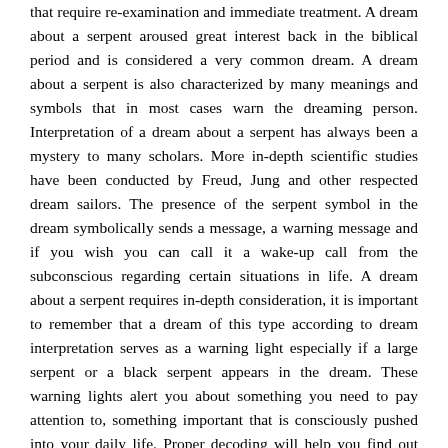that require re-examination and immediate treatment. A dream about a serpent aroused great interest back in the biblical period and is considered a very common dream. A dream about a serpent is also characterized by many meanings and symbols that in most cases warn the dreaming person. Interpretation of a dream about a serpent has always been a mystery to many scholars. More in-depth scientific studies have been conducted by Freud, Jung and other respected dream sailors. The presence of the serpent symbol in the dream symbolically sends a message, a warning message and if you wish you can call it a wake-up call from the subconscious regarding certain situations in life. A dream about a serpent requires in-depth consideration, it is important to remember that a dream of this type according to dream interpretation serves as a warning light especially if a large serpent or a black serpent appears in the dream. These warning lights alert you about something you need to pay attention to, something important that is consciously pushed into your daily life. Proper decoding will help you find out what the dream implies to you and what you need to do to solve the problem. It can be said that with the right interpretation of a dream about a serpent you can encourage positive changes in your life. On the other hand, dreaming about a serpent like a coin with two sides can overwhelm negative emotions like: fears, anxieties, anxieties and confusion. According to Judaism the serpent is a symbol of temptation, spiritual resistance, cunning and wisdom. This view is derived from the